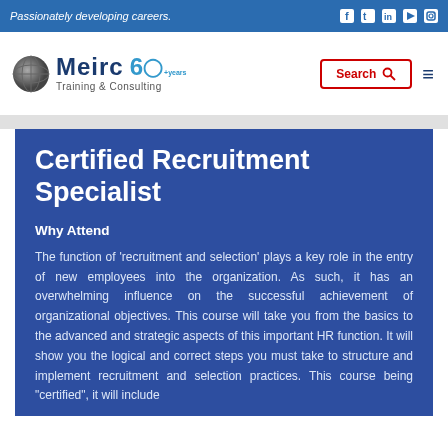Passionately developing careers.
[Figure (logo): Meirc Training & Consulting logo with globe icon and 60+ years badge]
Certified Recruitment Specialist
Why Attend
The function of 'recruitment and selection' plays a key role in the entry of new employees into the organization. As such, it has an overwhelming influence on the successful achievement of organizational objectives. This course will take you from the basics to the advanced and strategic aspects of this important HR function. It will show you the logical and correct steps you must take to structure and implement recruitment and selection practices. This course being "certified", it will include